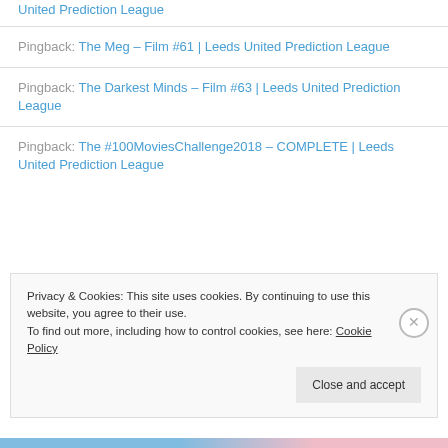Pingback: United Prediction League (truncated link at top)
Pingback: The Meg – Film #61 | Leeds United Prediction League
Pingback: The Darkest Minds – Film #63 | Leeds United Prediction League
Pingback: The #100MoviesChallenge2018 – COMPLETE | Leeds United Prediction League
Privacy & Cookies: This site uses cookies. By continuing to use this website, you agree to their use. To find out more, including how to control cookies, see here: Cookie Policy
Close and accept